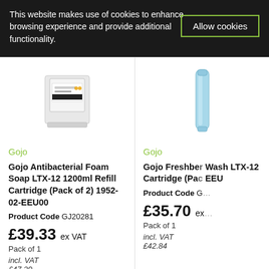This website makes use of cookies to enhance browsing experience and provide additional functionality.
Allow cookies
[Figure (photo): Gojo Antibacterial Foam Soap product container - clear plastic refill cartridge]
Gojo
Gojo Antibacterial Foam Soap LTX-12 1200ml Refill Cartridge (Pack of 2) 1952-02-EEU00
Product Code GJ20281
£39.33 ex VAT
Pack of 1
incl. VAT
£47.20
RRP £62.80 SAVE 37%
[Figure (photo): Gojo Freshberry Wash product - blue elongated refill cartridge]
Gojo
Gojo Freshberry Wash LTX-12 Cartridge (Pack... EEU
Product Code G...
£35.70 ex...
Pack of 1
incl. VAT
£42.84